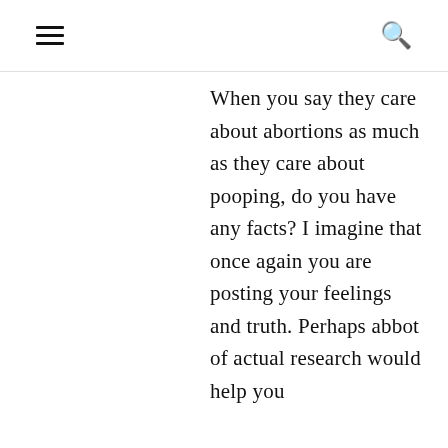≡  🔍
When you say they care about abortions as much as they care about pooping, do you have any facts? I imagine that once again you are posting your feelings and truth. Perhaps abbot of actual research would help you